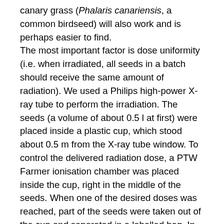canary grass (Phalaris canariensis, a common birdseed) will also work and is perhaps easier to find. The most important factor is dose uniformity (i.e. when irradiated, all seeds in a batch should receive the same amount of radiation). We used a Philips high-power X-ray tube to perform the irradiation. The seeds (a volume of about 0.5 l at first) were placed inside a plastic cup, which stood about 0.5 m from the X-ray tube window. To control the delivered radiation dose, a PTW Farmer ionisation chamber was placed inside the cup, right in the middle of the seeds. When one of the desired doses was reached, part of the seeds were taken out of the cup and separated in a labelled bag. In this way the dose was cumulative for the remaining seeds in the cup. One of the problems during irradiation was the fact that the seeds closer to the tube window received a higher dose, even though the cup was rotated by 180° between